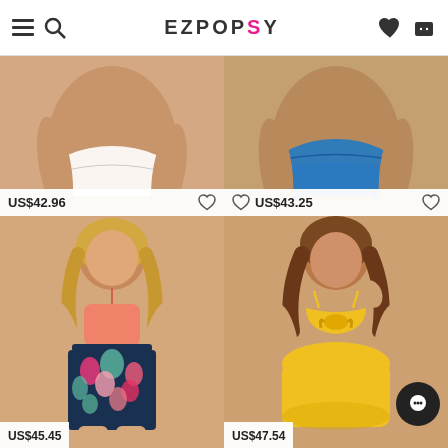EZPOPSY — navigation header with hamburger menu, search, logo, heart, and cart icons
[Figure (photo): Cropped photo of model wearing white bikini bottom, showing torso area. Product listing on e-commerce site.]
US$42.96
[Figure (photo): Cropped photo of model wearing blue high-cut swimsuit bottom, showing torso area. Product listing on e-commerce site.]
US$43.25
[Figure (photo): Full photo of blonde model wearing coral/peach high-neck bikini top and colorful tropical floral print high-waist bikini bottoms.]
[Figure (photo): Full photo of brunette model wearing yellow tie-front bandeau bikini top and yellow high-waist bikini bottoms.]
US$45.45
US$47.54